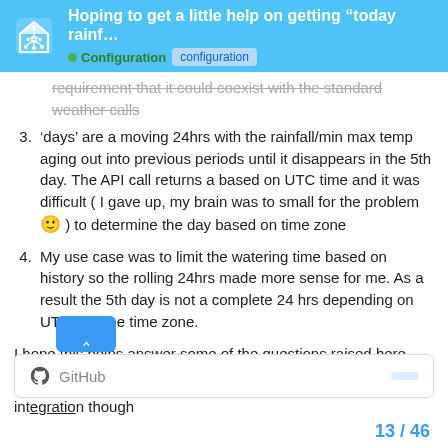Hoping to get a little help on getting “today rainf… | Configuration | configuration
requirement that it could coexist with the standard weather calls
3. ‘days’ are a moving 24hrs with the rainfall/min max temp aging out into previous periods until it disappears in the 5th day. The API call returns a based on UTC time and it was difficult ( I gave up, my brain was to small for the problem 🙂 ) to determine the day based on time zone
4. My use case was to limit the watering time based on history so the rolling 24hrs made more sense for me. As a result the 5th day is not a complete 24 hrs depending on UTC and the time zone.
I hope this helps answer some of the questions raised here
While I’m here I will add a shameless plug for my irrigation integration though
[Figure (screenshot): GitHub card/link at the bottom of the post]
13 / 46